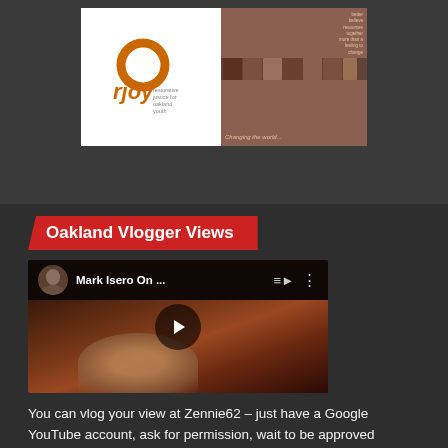[Figure (screenshot): RJOY (Restorative Justice for Oakland Youth) logo and promotional imagery composite with group photos]
Oakland Vlogger Views
[Figure (screenshot): YouTube video thumbnail showing 'Mark Isero On ...' with play button overlay, TV show style setting]
You can vlog your view at Zennie62 – just have a Google YouTube account, ask for permission, wait to be approved